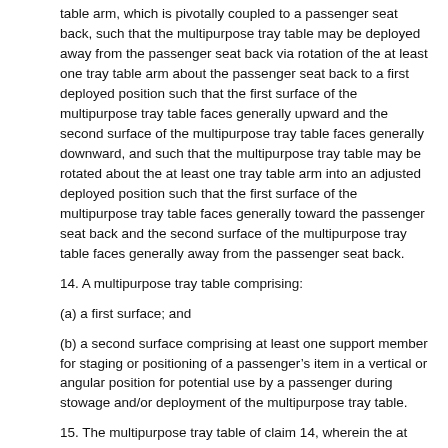table arm, which is pivotally coupled to a passenger seat back, such that the multipurpose tray table may be deployed away from the passenger seat back via rotation of the at least one tray table arm about the passenger seat back to a first deployed position such that the first surface of the multipurpose tray table faces generally upward and the second surface of the multipurpose tray table faces generally downward, and such that the multipurpose tray table may be rotated about the at least one tray table arm into an adjusted deployed position such that the first surface of the multipurpose tray table faces generally toward the passenger seat back and the second surface of the multipurpose tray table faces generally away from the passenger seat back.
14. A multipurpose tray table comprising:
(a) a first surface; and
(b) a second surface comprising at least one support member for staging or positioning of a passenger’s item in a vertical or angular position for potential use by a passenger during stowage and/or deployment of the multipurpose tray table.
15. The multipurpose tray table of claim 14, wherein the at least one support member is coupled to the second surface of the